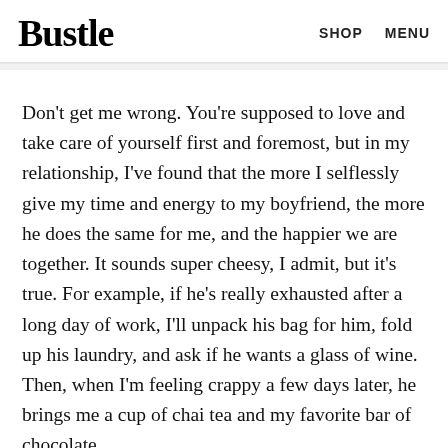Bustle   SHOP   MENU
Don't get me wrong. You're supposed to love and take care of yourself first and foremost, but in my relationship, I've found that the more I selflessly give my time and energy to my boyfriend, the more he does the same for me, and the happier we are together. It sounds super cheesy, I admit, but it's true. For example, if he's really exhausted after a long day of work, I'll unpack his bag for him, fold up his laundry, and ask if he wants a glass of wine. Then, when I'm feeling crappy a few days later, he brings me a cup of chai tea and my favorite bar of chocolate